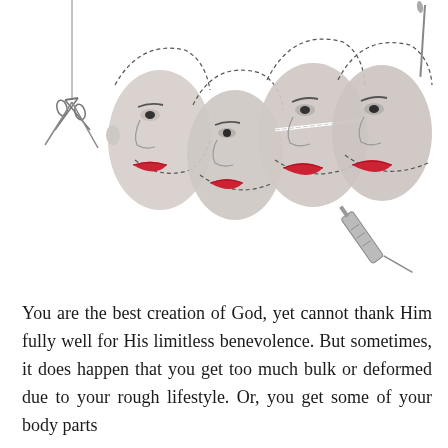[Figure (illustration): Artistic illustration showing four female faces in profile/three-quarter view with dotted surgical cut lines marked on them, surrounded by surgical instruments: scissors hanging on a thread on the left, a syringe on the lower right, and a needle/probe on the upper right. The faces are rendered in a monochromatic style with red lips, suggesting plastic surgery themes.]
You are the best creation of God, yet cannot thank Him fully well for His limitless benevolence. But sometimes, it does happen that you get too much bulk or deformed due to your rough lifestyle. Or, you get some of your body parts